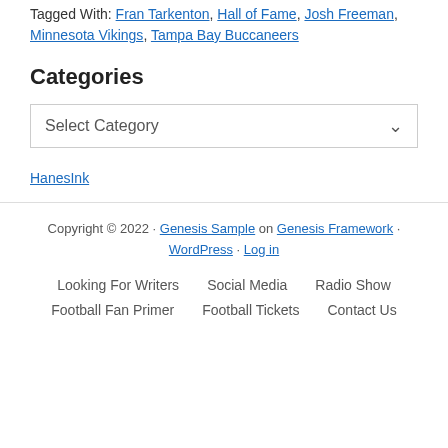Tagged With: Fran Tarkenton, Hall of Fame, Josh Freeman, Minnesota Vikings, Tampa Bay Buccaneers
Categories
Select Category
HanesInk
Copyright © 2022 · Genesis Sample on Genesis Framework · WordPress · Log in
Looking For Writers
Social Media
Radio Show
Football Fan Primer
Football Tickets
Contact Us